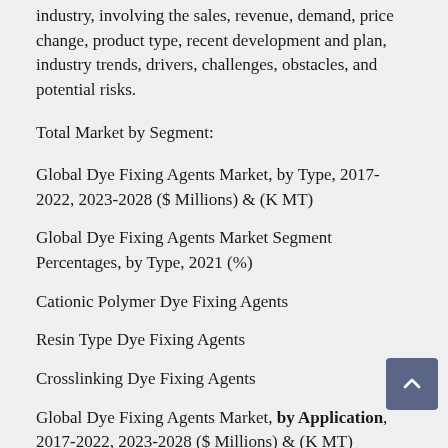industry, involving the sales, revenue, demand, price change, product type, recent development and plan, industry trends, drivers, challenges, obstacles, and potential risks.
Total Market by Segment:
Global Dye Fixing Agents Market, by Type, 2017-2022, 2023-2028 ($ Millions) & (K MT)
Global Dye Fixing Agents Market Segment Percentages, by Type, 2021 (%)
Cationic Polymer Dye Fixing Agents
Resin Type Dye Fixing Agents
Crosslinking Dye Fixing Agents
Global Dye Fixing Agents Market, by Application, 2017-2022, 2023-2028 ($ Millions) & (K MT)